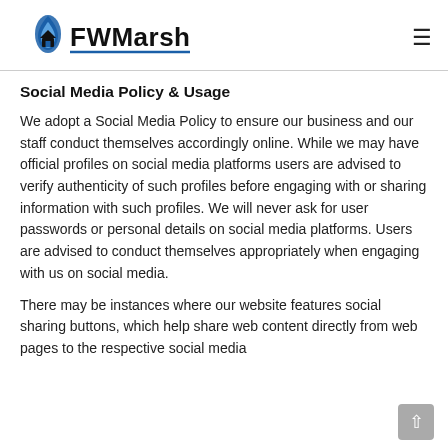[Figure (logo): FWMarsh logo with flame/house icon and blue underline, followed by hamburger menu icon]
Social Media Policy & Usage
We adopt a Social Media Policy to ensure our business and our staff conduct themselves accordingly online. While we may have official profiles on social media platforms users are advised to verify authenticity of such profiles before engaging with or sharing information with such profiles. We will never ask for user passwords or personal details on social media platforms. Users are advised to conduct themselves appropriately when engaging with us on social media.
There may be instances where our website features social sharing buttons, which help share web content directly from web pages to the respective social media